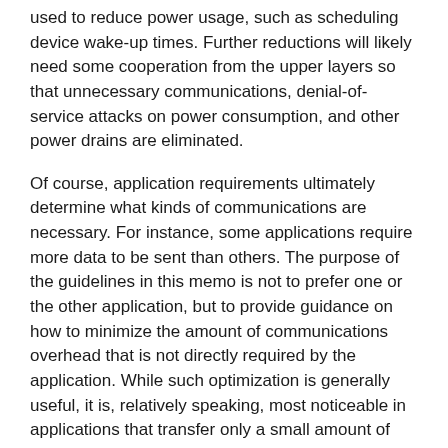used to reduce power usage, such as scheduling device wake-up times. Further reductions will likely need some cooperation from the upper layers so that unnecessary communications, denial-of-service attacks on power consumption, and other power drains are eliminated.
Of course, application requirements ultimately determine what kinds of communications are necessary. For instance, some applications require more data to be sent than others. The purpose of the guidelines in this memo is not to prefer one or the other application, but to provide guidance on how to minimize the amount of communications overhead that is not directly required by the application. While such optimization is generally useful, it is, relatively speaking, most noticeable in applications that transfer only a small amount of data or operate only infrequently.
3. Link-Layer Assumptions
We assume that the underlying communications network can be any large-scale public network that employs a point